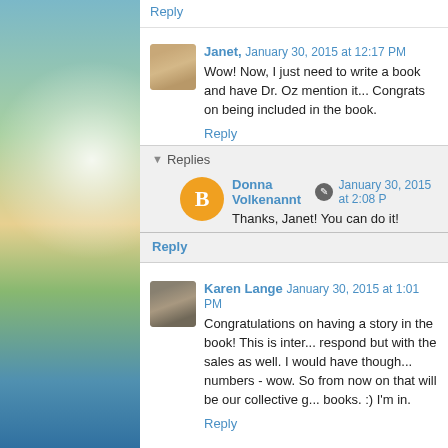Reply
Janet,  January 30, 2015 at 12:17 PM
Wow! Now, I just need to write a book and have Dr. Oz mention it... Congrats on being included in the book.
Reply
Replies
Donna Volkenannt  January 30, 2015 at 2:08 PM
Thanks, Janet! You can do it!
Reply
Karen Lange  January 30, 2015 at 1:01 PM
Congratulations on having a story in the book! This is interesting not only in how people respond but with the sales as well. I would have thought the opposite about the numbers - wow. So from now on that will be our collective goal - get Dr. Oz to mention our books. :) I'm in.
Reply